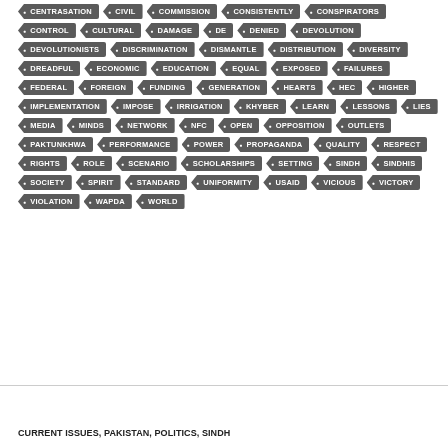[Figure (other): A tag cloud of keyword tags displayed as arrow/chevron-shaped badges in dark grey with white text. Tags include: CENTRASATION, CIVIL, COMMISSION, CONSISTENTLY, CONSPIRATORS, CONTROL, CULTURAL, DAMAGE, DE, DENIED, DEVOLUTION, DEVOLUTIONISTS, DISCRIMINATION, DISMANTLE, DISTRIBUTION, DIVERSITY, DREADFUL, ECONOMIC, EDUCATION, EQUAL, EXPOSED, FAILURES, FEDERAL, FOREIGN, FUNDING, GENERATION, HEARTS, HEC, HIGHER, IMPLEMENTATION, IMPOSE, IRRIGATION, KHYBER, LEARN, LESSONS, LIES, MEDIA, MINDS, NETWORK, NFC, OPEN, OPPOSITION, OUTLETS, PAKTUNKHWA, PERFORMANCE, POWER, PROPAGANDA, QUALITY, RESPECT, RIGHTS, ROLE, SCENARIO, SCHOLARSHIPS, SETTING, SINDH, SINDHIS, SOCIETY, SPIRIT, STANDARD, UNIFORMITY, USAID, VICIOUS, VICTORY, VIOLATION, WAPDA, WORLD]
CURRENT ISSUES, PAKISTAN, POLITICS, SINDH